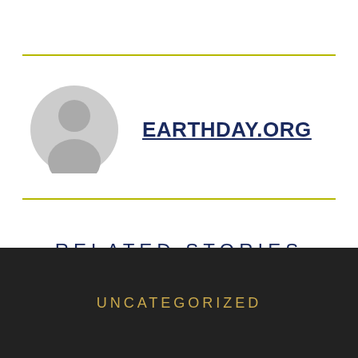[Figure (illustration): Generic user avatar icon — grey silhouette of a person in a circle]
EARTHDAY.ORG
RELATED STORIES
UNCATEGORIZED